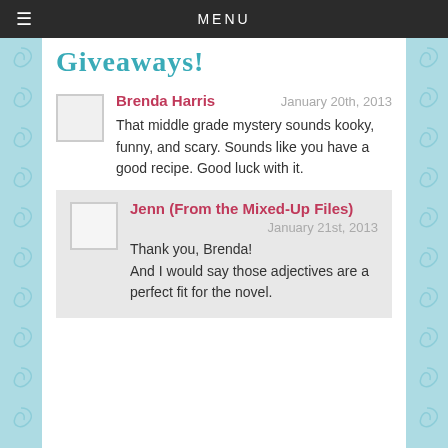MENU
Giveaways!
Brenda Harris  January 20th, 2013
That middle grade mystery sounds kooky, funny, and scary. Sounds like you have a good recipe. Good luck with it.
Jenn (From the Mixed-Up Files)  January 21st, 2013
Thank you, Brenda!
And I would say those adjectives are a perfect fit for the novel.